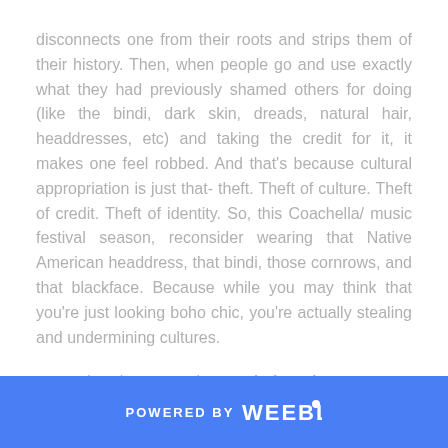disconnects one from their roots and strips them of their history. Then, when people go and use exactly what they had previously shamed others for doing (like the bindi, dark skin, dreads, natural hair, headdresses, etc) and taking the credit for it, it makes one feel robbed. And that's because cultural appropriation is just that- theft. Theft of culture. Theft of credit. Theft of identity. So, this Coachella/ music festival season, reconsider wearing that Native American headdress, that bindi, those cornrows, and that blackface. Because while you may think that you're just looking boho chic, you're actually stealing and undermining cultures.
Post written by guest writer Amal Khateeb
POWERED BY weebly